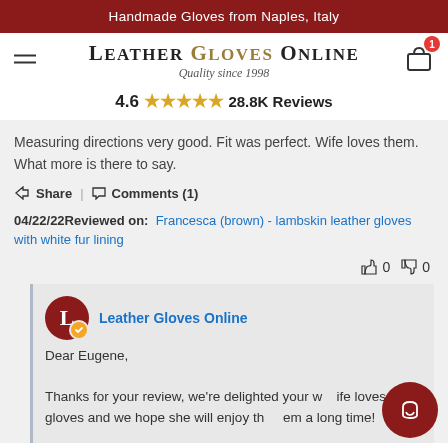Handmade Gloves from Naples, Italy
Leather Gloves Online
Quality since 1998
4.6 ★★★★★ 28.8K Reviews
Measuring directions very good. Fit was perfect. Wife loves them. What more is there to say.
Share | Comments (1)
04/22/22 Reviewed on: Francesca (brown) - lambskin leather gloves with white fur lining
👍 0  👎 0
Leather Gloves Online
Dear Eugene,
Thanks for your review, we're delighted your wife loves her gloves and we hope she will enjoy them a long time!